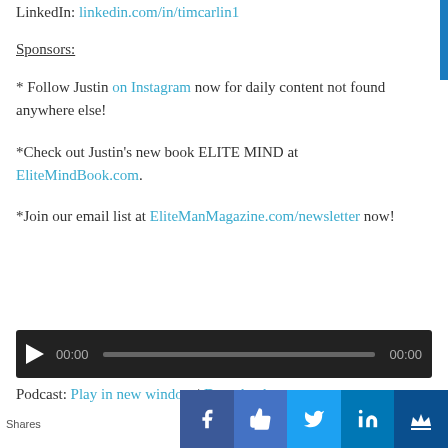LinkedIn: linkedin.com/in/timcarlin1
Sponsors:
* Follow Justin on Instagram now for daily content not found anywhere else!
*Check out Justin's new book ELITE MIND at EliteMindBook.com.
*Join our email list at EliteManMagazine.com/newsletter now!
[Figure (other): Audio player with play button, 00:00 time, progress bar, and 00:00 duration on dark background]
Podcast: Play in new window | Download
Shares
[Figure (other): Social share bar with Facebook, thumbs up, Twitter, LinkedIn, and crown icons]